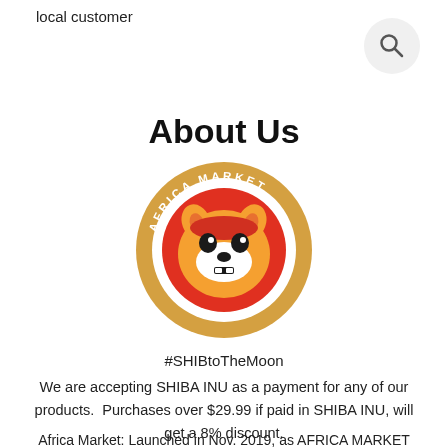local customer
About Us
[Figure (logo): Africa Market Shiba Inu Payment circular logo — gold coin with Shiba Inu dog face on red circle, text reading AFRICA MARKET and SHIBA INU PAYMENT around the border]
#SHIBtoTheMoon
We are accepting SHIBA INU as a payment for any of our products.  Purchases over $29.99 if paid in SHIBA INU, will get a 8% discount.
Africa Market: Launched in Nov. 2019, as AFRICA MARKET